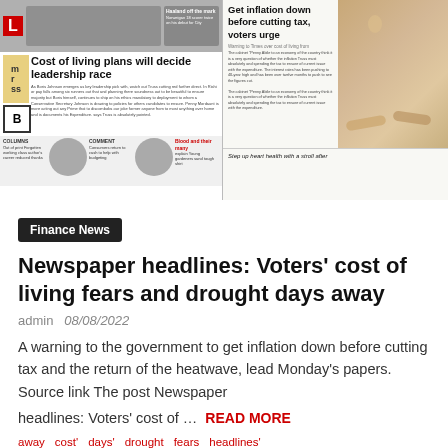[Figure (photo): Composite image of two newspaper front pages: left shows a tabloid with headline 'Cost of living plans will decide leadership race', right shows a broadsheet with headline 'Get inflation down before cutting tax, voters urge' with a photo of two people sunbathing]
Finance News
Newspaper headlines: Voters' cost of living fears and drought days away
admin  08/08/2022
A warning to the government to get inflation down before cutting tax and the return of the heatwave, lead Monday's papers. Source link The post Newspaper
headlines: Voters' cost of …  READ MORE
away   cost'   days'   drought   fears   headlines'